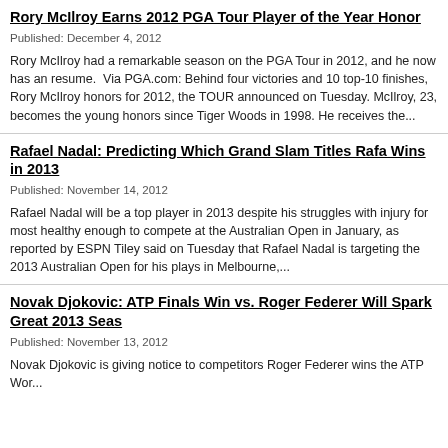Rory McIlroy Earns 2012 PGA Tour Player of the Year Honor
Published: December 4, 2012
Rory McIlroy had a remarkable season on the PGA Tour in 2012, and he now has an resume.  Via PGA.com: Behind four victories and 10 top-10 finishes, Rory McIlroy honors for 2012, the TOUR announced on Tuesday. McIlroy, 23, becomes the young honors since Tiger Woods in 1998. He receives the...
Rafael Nadal: Predicting Which Grand Slam Titles Rafa Wins in 2013
Published: November 14, 2012
Rafael Nadal will be a top player in 2013 despite his struggles with injury for most healthy enough to compete at the Australian Open in January, as reported by ESPN Tiley said on Tuesday that Rafael Nadal is targeting the 2013 Australian Open for his plays in Melbourne,...
Novak Djokovic: ATP Finals Win vs. Roger Federer Will Spark Great 2013 Seas
Published: November 13, 2012
Novak Djokovic is giving notice to competitors Roger Federer wins the ATP Wor...